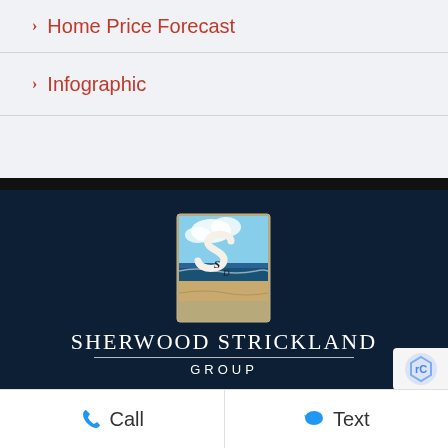Home Price Forecast
Infographic
[Figure (logo): Sherwood Strickland Group logo with SD monogram and beach scene]
SHERWOOD STRICKLAND GROUP
Call   Text